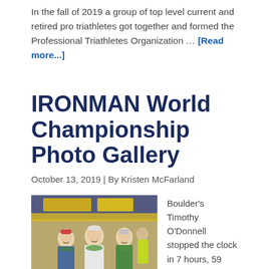In the fall of 2019 a group of top level current and retired pro triathletes got together and formed the Professional Triathletes Organization … [Read more...]
IRONMAN World Championship Photo Gallery
October 13, 2019 | By Kristen McFarland
[Figure (photo): Three triathletes posing at the IRONMAN World Championship finish area, smiling and wearing flower leis and race gear. Background shows race event signage.]
Boulder's Timothy O'Donnell stopped the clock in 7 hours, 59 minutes, 40 seconds — the